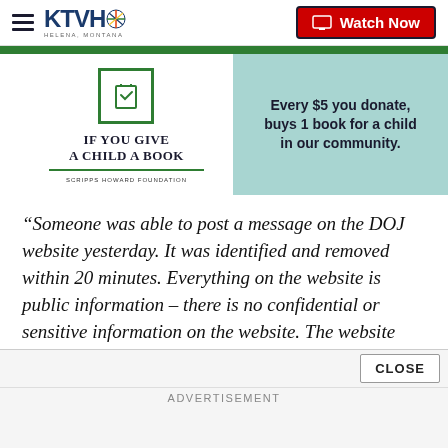KTVH — Watch Now
[Figure (infographic): If You Give a Child a Book — Scripps Howard Foundation ad. Green bar at top, book icon, text: 'IF YOU GIVE A CHILD A BOOK', 'SCRIPPS HOWARD FOUNDATION'. Right panel in teal: 'Every $5 you donate, buys 1 book for a child in our community.']
“Someone was able to post a message on the DOJ website yesterday. It was identified and removed within 20 minutes. Everything on the website is public information – there is no confidential or sensitive information on the website. The website remains available for Montanans to find the information they need.”
ADVERTISEMENT